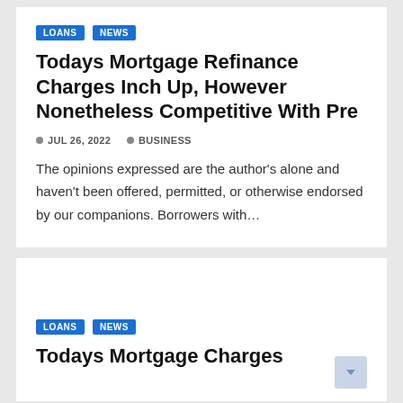LOANS  NEWS
Todays Mortgage Refinance Charges Inch Up, However Nonetheless Competitive With Pre
JUL 26, 2022   BUSINESS
The opinions expressed are the author's alone and haven't been offered, permitted, or otherwise endorsed by our companions. Borrowers with…
LOANS  NEWS
Todays Mortgage Charges